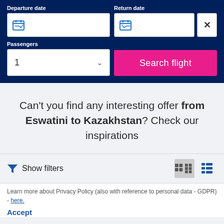Departure date
Return date
Passengers
Search flight
Can't you find any interesting offer from Eswatini to Kazakhstan? Check our inspirations
Show filters
Learn more about Privacy Policy (also with reference to personal data - GDPR) - here.
Accept